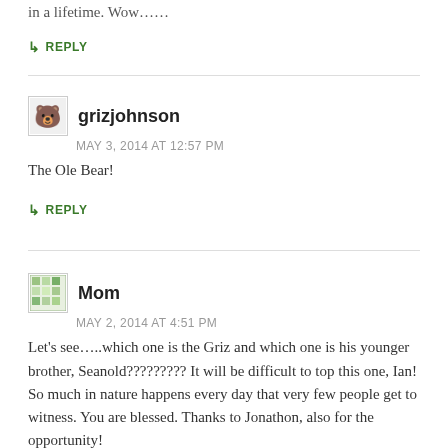in a lifetime. Wow……
↳ REPLY
grizjohnson
MAY 3, 2014 AT 12:57 PM
The Ole Bear!
↳ REPLY
Mom
MAY 2, 2014 AT 4:51 PM
Let's see…..which one is the Griz and which one is his younger brother, Seanold????????? It will be difficult to top this one, Ian! So much in nature happens every day that very few people get to witness. You are blessed. Thanks to Jonathon, also for the opportunity!